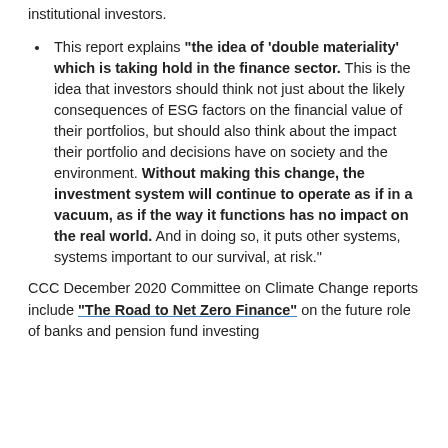institutional investors.
This report explains "the idea of 'double materiality' which is taking hold in the finance sector." This is the idea that investors should think not just about the likely consequences of ESG factors on the financial value of their portfolios, but should also think about the impact their portfolio and decisions have on society and the environment. Without making this change, the investment system will continue to operate as if in a vacuum, as if the way it functions has no impact on the real world. And in doing so, it puts other systems, systems important to our survival, at risk."
CCC December 2020 Committee on Climate Change reports include "The Road to Net Zero Finance" on the future role of banks and pension fund investing